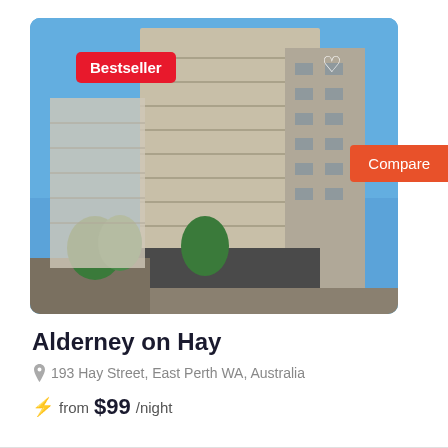[Figure (photo): Exterior photo of Alderney on Hay apartment building in East Perth, a tall multi-storey residential building with balconies, set on a street with trees. Blue sky background. Has a red Bestseller badge overlaid in top-left and a white heart icon in top-right.]
Bestseller
Compare
Alderney on Hay
193 Hay Street, East Perth WA, Australia
from $99/night